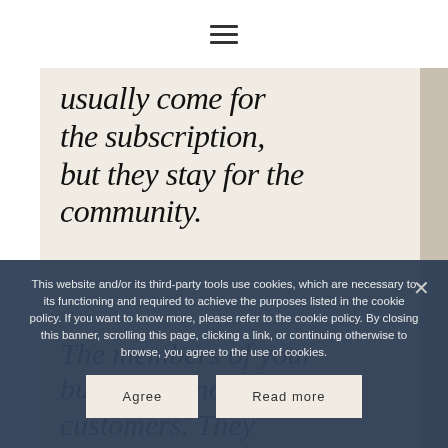[Figure (screenshot): Hamburger/menu icon at top center of page on white background]
usually come for the subscription, but they stay for the community.
The members of your buyers are not customers. They are members. #lifestyleceo
This website and/or its third-party tools use cookies, which are necessary to its functioning and required to achieve the purposes listed in the cookie policy. If you want to know more, please refer to the cookie policy. By closing this banner, scrolling this page, clicking a link, or continuing otherwise to browse, you agree to the use of cookies.